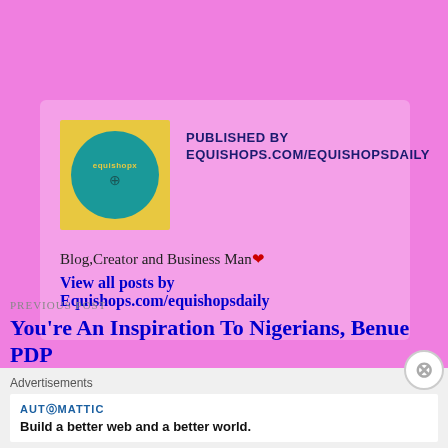[Figure (logo): Yellow square background with a teal/green circle containing the text 'equishopx' and a small icon in the center]
PUBLISHED BY
EQUISHOPS.COM/EQUISHOPSDAILY
Blog,Creator and Business Man❤
View all posts by Equishops.com/equishopsdaily
PREVIOUS POST
You're An Inspiration To Nigerians, Benue PDP
Advertisements
AUTOMATTIC
Build a better web and a better world.